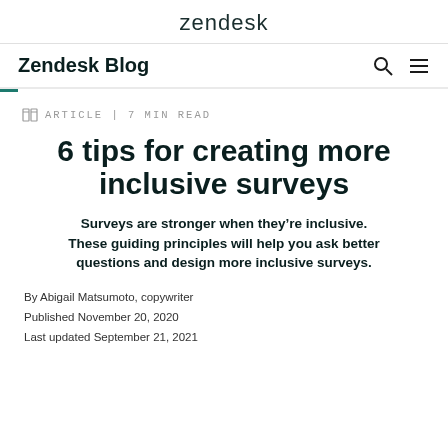zendesk
Zendesk Blog
ARTICLE | 7 MIN READ
6 tips for creating more inclusive surveys
Surveys are stronger when they’re inclusive. These guiding principles will help you ask better questions and design more inclusive surveys.
By Abigail Matsumoto, copywriter
Published November 20, 2020
Last updated September 21, 2021